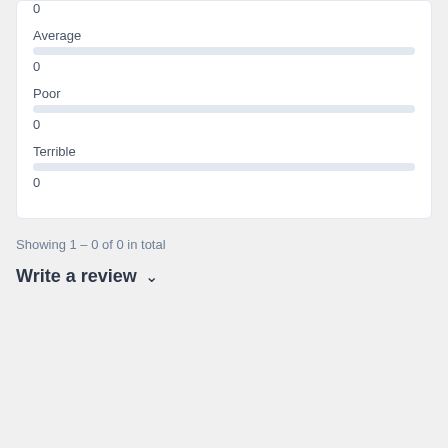0
Average
0
Poor
0
Terrible
0
Showing 1 – 0 of 0 in total
Write a review